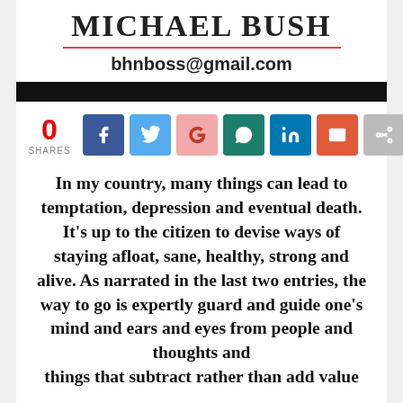MICHAEL BUSH
bhnboss@gmail.com
[Figure (infographic): Social share buttons row: 0 SHARES, Facebook, Twitter, Google+, WhatsApp, LinkedIn, Email, Share icons]
In my country, many things can lead to temptation, depression and eventual death. It's up to the citizen to devise ways of staying afloat, sane, healthy, strong and alive. As narrated in the last two entries, the way to go is expertly guard and guide one's mind and ears and eyes from people and thoughts and things that subtract rather than add value to